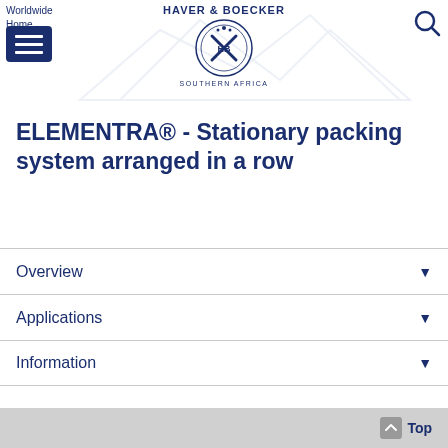HAVER & BOECKER SOUTHERN AFRICA — Worldwide Home
ELEMENTRA® - Stationary packing system arranged in a row
Overview
Applications
Information
Top